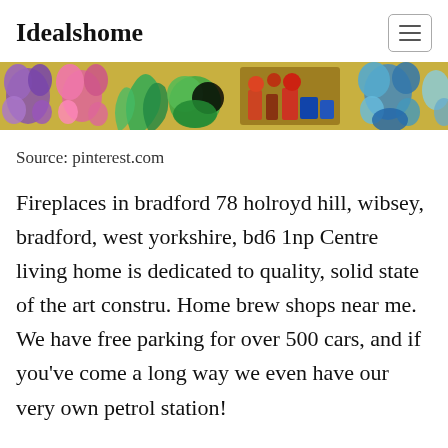Idealshome
[Figure (illustration): Decorative banner image showing colorful floral and nature illustrations including purple, pink, and blue flowers, green plants, and mixed decorative elements on a yellow/gold background.]
Source: pinterest.com
Fireplaces in bradford 78 holroyd hill, wibsey, bradford, west yorkshire, bd6 1np Centre living home is dedicated to quality, solid state of the art constru. Home brew shops near me. We have free parking for over 500 cars, and if you've come a long way we even have our very own petrol station!